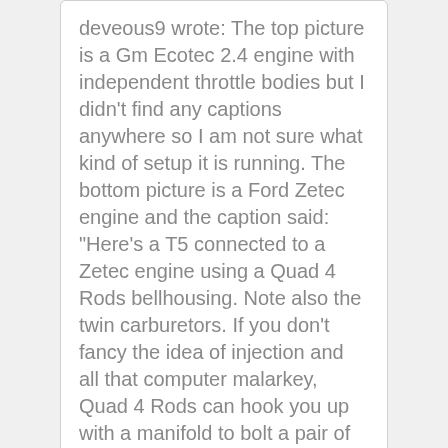deveous9 wrote: The top picture is a Gm Ecotec 2.4 engine with independent throttle bodies but I didn't find any captions anywhere so I am not sure what kind of setup it is running. The bottom picture is a Ford Zetec engine and the caption said: "Here's a T5 connected to a Zetec engine using a Quad 4 Rods bellhousing. Note also the twin carburetors. If you don't fancy the idea of injection and all that computer malarkey, Quad 4 Rods can hook you up with a manifold to bolt a pair of sidedraft Webers to your Zetec, for that good old-fashioned induction roar!"
[Figure (photo): User avatar for RossD showing a snowy scene with a cabin]
RossD HalfDork 9/21/09 3:25 p.m.
The ford duratec doesnt have the ipt but the mazda does (is